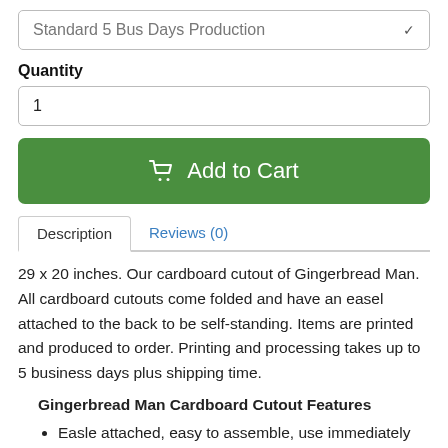Standard 5 Bus Days Production
Quantity
1
Add to Cart
Description
Reviews (0)
29 x 20 inches. Our cardboard cutout of Gingerbread Man. All cardboard cutouts come folded and have an easel attached to the back to be self-standing. Items are printed and produced to order. Printing and processing takes up to 5 business days plus shipping time.
Gingerbread Man Cardboard Cutout Features
Easle attached, easy to assemble, use immediately
Official life size cutouts stand as tall as the celebrity they portray